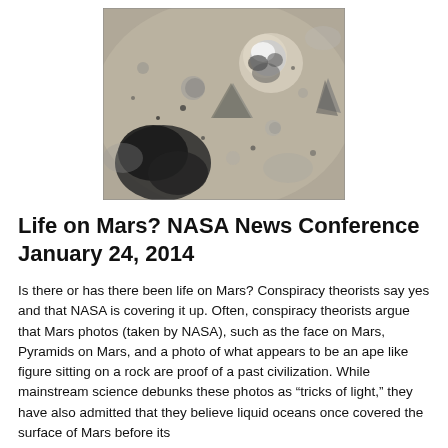[Figure (photo): Black and white NASA photograph of the surface of Mars showing rocky formations including what appears to be a face-like structure and pyramid-like shapes on the Martian landscape.]
Life on Mars? NASA News Conference January 24, 2014
Is there or has there been life on Mars? Conspiracy theorists say yes and that NASA is covering it up. Often, conspiracy theorists argue that Mars photos (taken by NASA), such as the face on Mars, Pyramids on Mars, and a photo of what appears to be an ape like figure sitting on a rock are proof of a past civilization. While mainstream science debunks these photos as "tricks of light," they have also admitted that they believe liquid oceans once covered the surface of Mars before its